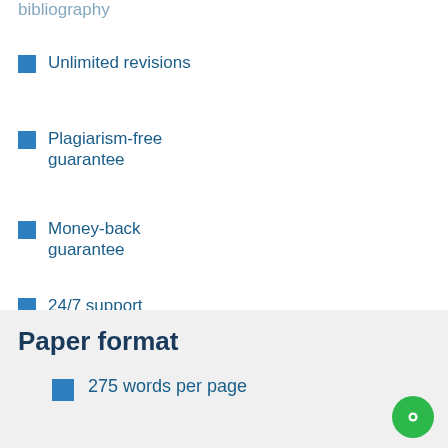bibliography
Writer's samples
Unlimited revisions
Part-by-part delivery
Plagiarism-free guarantee
Overnight delivery
Money-back guarantee
Copies of used sources
24/7 support
Expert Proofreading
Paper format
275 words per page